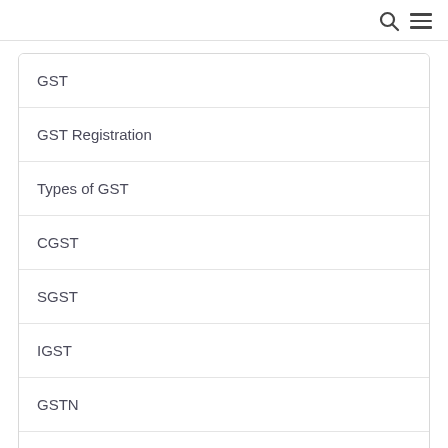Search | Menu
GST
GST Registration
Types of GST
CGST
SGST
IGST
GSTN
GST Filing
GST Rates
GSTR 3B